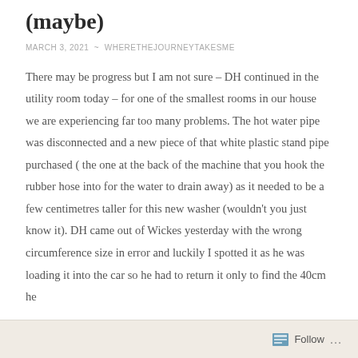(maybe)
MARCH 3, 2021  ~  WHERETHEJOURNEYTAKESME
There may be progress but I am not sure – DH continued in the utility room today – for one of the smallest rooms in our house we are experiencing far too many problems. The hot water pipe was disconnected and a new piece of that white plastic stand pipe purchased ( the one at the back of the machine that you hook the rubber hose into for the water to drain away) as it needed to be a few centimetres taller for this new washer (wouldn't you just know it). DH came out of Wickes yesterday with the wrong circumference size in error and luckily I spotted it as he was loading it into the car so he had to return it only to find the 40cm he
Follow